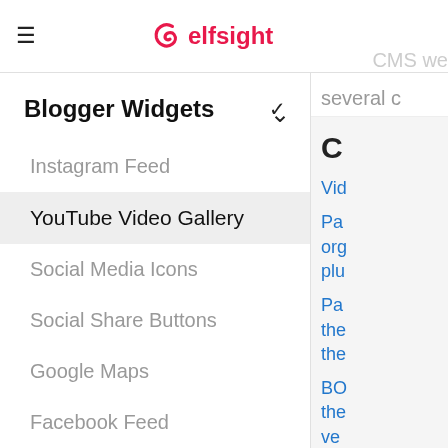≡  elfsight   CMS we...
several c
Blogger Widgets
Instagram Feed
YouTube Video Gallery
Social Media Icons
Social Share Buttons
Google Maps
Facebook Feed
Testimonials Slider
Pricing Table
C
Vid
Pa org plu
Pa the the
BO the ve